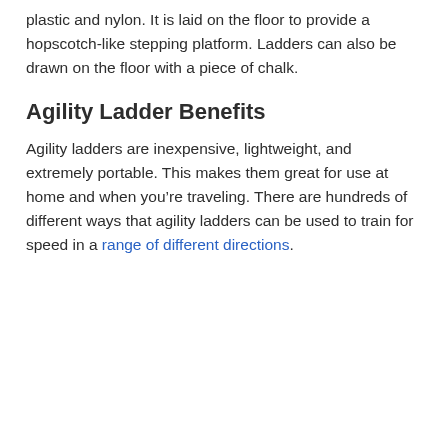plastic and nylon. It is laid on the floor to provide a hopscotch-like stepping platform. Ladders can also be drawn on the floor with a piece of chalk.
Agility Ladder Benefits
Agility ladders are inexpensive, lightweight, and extremely portable. This makes them great for use at home and when you’re traveling. There are hundreds of different ways that agility ladders can be used to train for speed in a range of different directions.